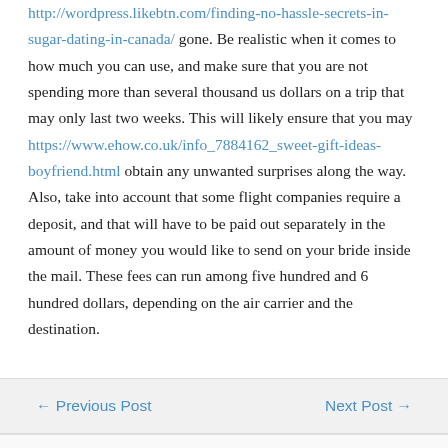http://wordpress.likebtn.com/finding-no-hassle-secrets-in-sugar-dating-in-canada/ gone. Be realistic when it comes to how much you can use, and make sure that you are not spending more than several thousand us dollars on a trip that may only last two weeks. This will likely ensure that you may https://www.ehow.co.uk/info_7884162_sweet-gift-ideas-boyfriend.html obtain any unwanted surprises along the way. Also, take into account that some flight companies require a deposit, and that will have to be paid out separately in the amount of money you would like to send on your bride inside the mail. These fees can run among five hundred and 6 hundred dollars, depending on the air carrier and the destination.
← Previous Post    Next Post →
Leave a Comment